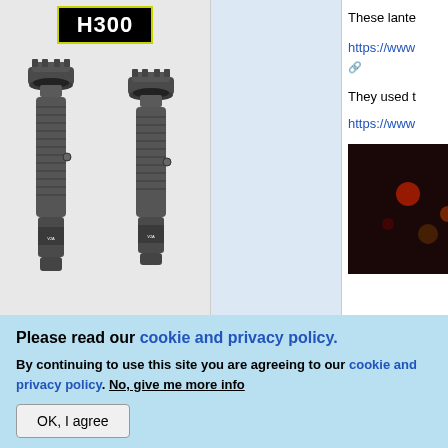[Figure (photo): Product image showing two dark gray tactical flashlights (E2A model) on a light gray background, with H300 badge at top and E2A yellow text at bottom]
[Figure (photo): Partial dark photo visible in right column, appears to show blurred lights on a dark background]
These lante
https://www
They used t
https://www
Please read our cookie and privacy policy.
By continuing to use this site you are agreeing to our cookie and privacy policy. No, give me more info
OK, I agree